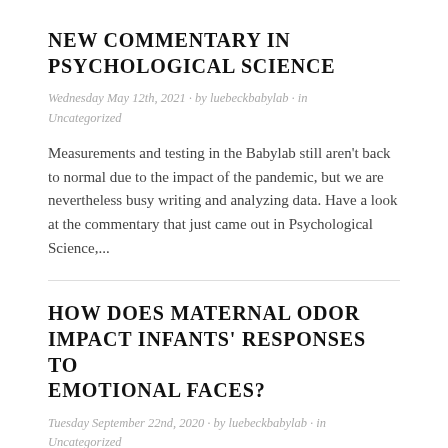NEW COMMENTARY IN PSYCHOLOGICAL SCIENCE
Wednesday May 12th, 2021 · by luebeckbabylab · in Uncategorized
Measurements and testing in the Babylab still aren't back to normal due to the impact of the pandemic, but we are nevertheless busy writing and analyzing data. Have a look at the commentary that just came out in Psychological Science,...
HOW DOES MATERNAL ODOR IMPACT INFANTS' RESPONSES TO EMOTIONAL FACES?
Tuesday September 22nd, 2020 · by luebeckbabylab · in Uncategorized
First results from our project on the impact